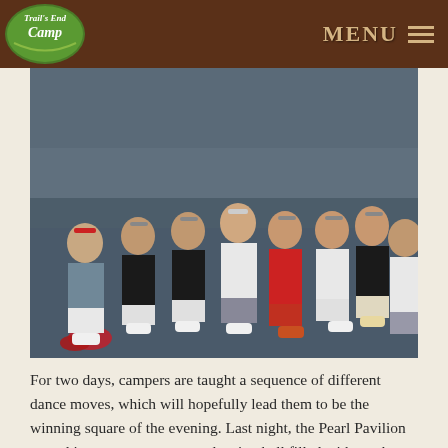Trails End Camp | MENU
[Figure (photo): Group of campers sitting on a gymnasium floor posing for a photo, wearing dance costumes including white tank tops, black outfits, and a red outfit. Several wear headbands. Red decorations visible on the floor.]
For two days, campers are taught a sequence of different dance moves, which will hopefully lead them to be the winning square of the evening. Last night, the Pearl Pavilion turned into a western square dancing hall filled with catchy tunes, great vibes and colorful dance moves. A fun time was had by all as